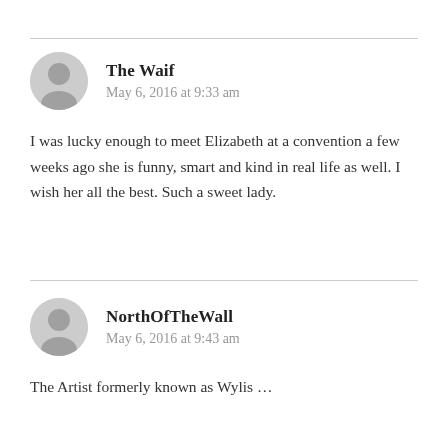The Waif
May 6, 2016 at 9:33 am
I was lucky enough to meet Elizabeth at a convention a few weeks ago she is funny, smart and kind in real life as well. I wish her all the best. Such a sweet lady.
NorthOfTheWall
May 6, 2016 at 9:43 am
The Artist formerly known as Wylis …